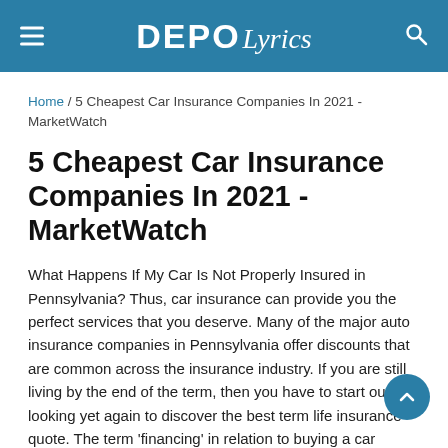DEPO Lyrics
Home / 5 Cheapest Car Insurance Companies In 2021 - MarketWatch
5 Cheapest Car Insurance Companies In 2021 - MarketWatch
What Happens If My Car Is Not Properly Insured in Pennsylvania? Thus, car insurance can provide you the perfect services that you deserve. Many of the major auto insurance companies in Pennsylvania offer discounts that are common across the insurance industry. If you are still living by the end of the term, then you have to start out looking yet again to discover the best term life insurance quote. The term 'financing' in relation to buying a car